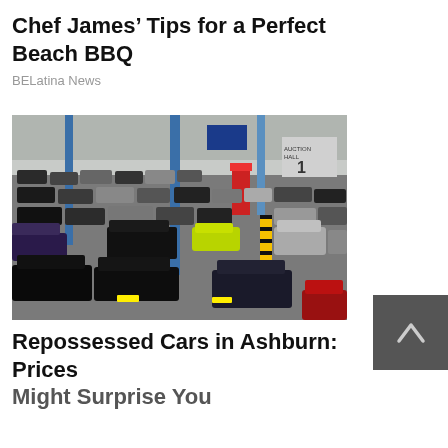Chef James’ Tips for a Perfect Beach BBQ
BELatina News
[Figure (photo): Interior of a large car auction hall packed with hundreds of cars of various colors, viewed from an elevated angle. Blue structural columns visible, with auction hall number 1 sign in background.]
Repossessed Cars in Ashburn: Prices Might Surprise You